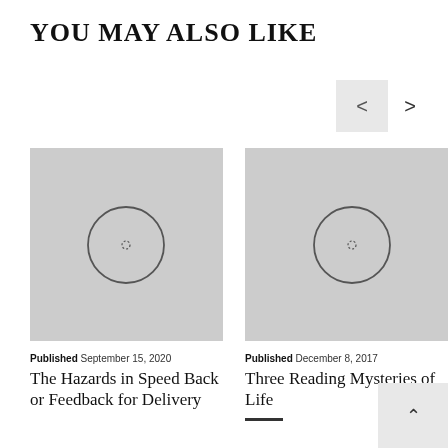YOU MAY ALSO LIKE
[Figure (screenshot): Navigation prev/next buttons: a grey left-arrow box and a plain right arrow]
[Figure (photo): Placeholder image with grey background and circle icon for article 1]
[Figure (photo): Placeholder image with grey background and circle icon for article 2]
Published September 15, 2020
The Hazards in Speed Back or Feedback for Delivery
Published December 8, 2017
Three Reading Mysteries of Life